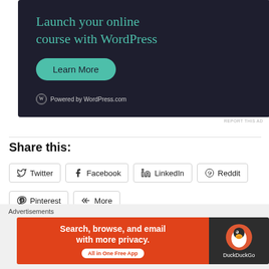[Figure (other): WordPress.com advertisement banner with dark background, teal heading 'Launch your online course with WordPress', a teal 'Learn More' button, and 'Powered by WordPress.com' footer text with WordPress logo.]
REPORT THIS AD
Share this:
Twitter
Facebook
LinkedIn
Reddit
Pinterest
More
[Figure (other): DuckDuckGo advertisement banner with orange left panel reading 'Search, browse, and email with more privacy. All in One Free App' and dark right panel with DuckDuckGo duck logo and name.]
Advertisements